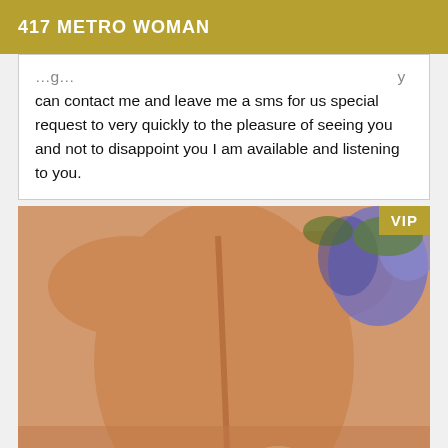417 METRO WOMAN
can contact me and leave me a sms for us special request to very quickly to the pleasure of seeing you and not to disappoint you I am available and listening to you.
[Figure (photo): Close-up photo of a person's bare back with blue flowers in the background and a VIP badge in the top-right corner.]